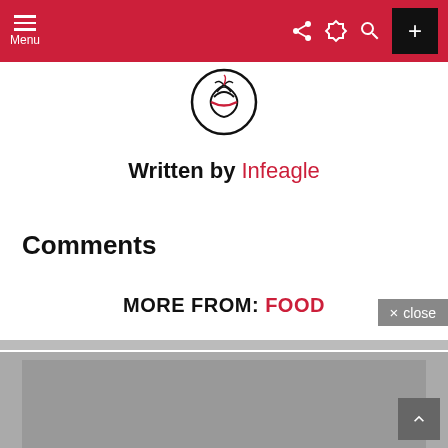Menu | navigation bar with share, dark mode, search, and plus icons
[Figure (logo): Infeagle circular logo with eagle/bird motif in black and red]
Written by Infeagle
Comments
0 comments
MORE FROM: FOOD
[Figure (photo): Gray placeholder image area at bottom of page]